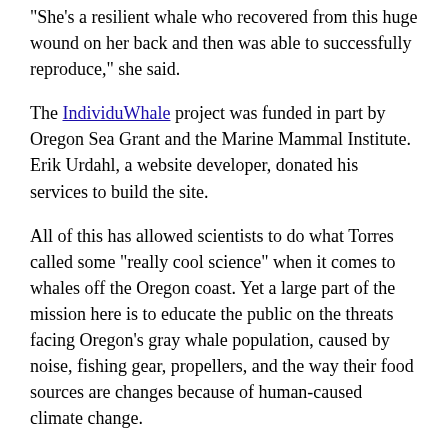“She’s a resilient whale who recovered from this huge wound on her back and then was able to successfully reproduce,” she said.
The IndividuWhale project was funded in part by Oregon Sea Grant and the Marine Mammal Institute. Erik Urdahl, a website developer, donated his services to build the site.
All of this has allowed scientists to do what Torres called some “really cool science” when it comes to whales off the Oregon coast. Yet a large part of the mission here is to educate the public on the threats facing Oregon’s gray whale population, caused by noise, fishing gear, propellers, and the way their food sources are changes because of human-caused climate change.
Sure, the site is about an extra layer to tourism fun on the coastline, but there are some important points not to be missed.
“We want people to understand the connection between their behavior and these individual whales,”